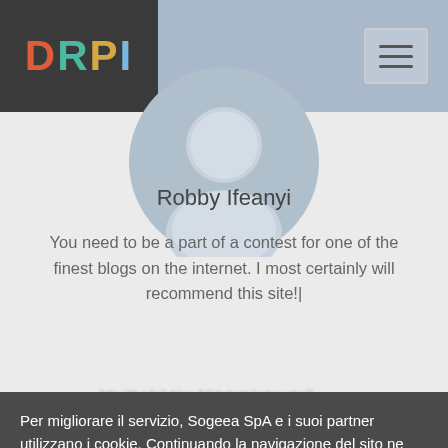[Figure (logo): DRPI logo with colored letters on dark background]
[Figure (illustration): Generic user profile avatar silhouette in gray/blue tones]
Robby Ifeanyi
You need to be a part of a contest for one of the finest blogs on the internet. I most certainly will recommend this site!|
Per migliorare il servizio, Sogeea SpA e i suoi partner utilizzano i cookie. Continuando la navigazione del sito ne accetti l'utilizzo.
Se desideri maggiori informazioni leggi la nostra politica in materia di cookie. Per saperne di più
CHIUDI